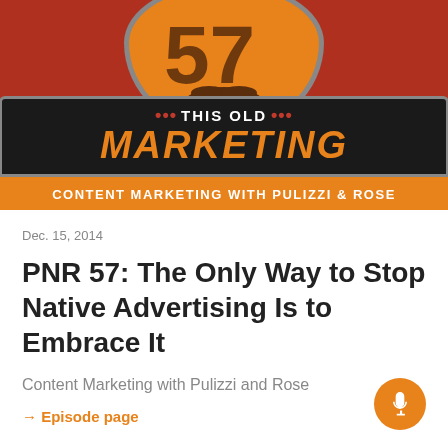[Figure (logo): This Old Marketing podcast logo — circular orange badge with beard illustration above a black banner reading THIS OLD... MARKETING in white and orange text. Red background with orange subtitle bar reading CONTENT MARKETING WITH PULIZZI & ROSE.]
Dec. 15, 2014
PNR 57: The Only Way to Stop Native Advertising Is to Embrace It
Content Marketing with Pulizzi and Rose
→ Episode page